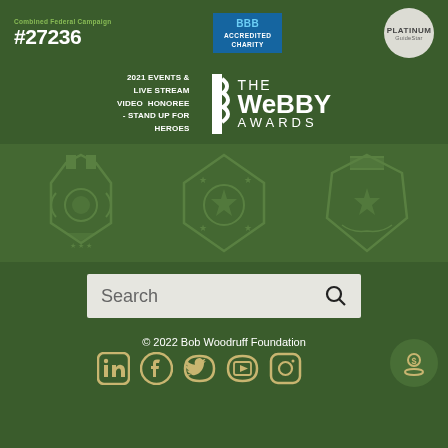[Figure (logo): Combined Federal Campaign logo with number #27236, BBB Accredited Charity badge, and GuideStar Platinum badge]
[Figure (logo): 2021 Events & Live Stream Video Honoree - Stand Up For Heroes with The Webby Awards logo]
[Figure (illustration): Three military medal shield icons in muted green on darker green background]
[Figure (screenshot): Search bar with search icon]
© 2022 Bob Woodruff Foundation
[Figure (logo): Social media icons: LinkedIn, Facebook, Twitter, YouTube, Instagram in gold/tan color]